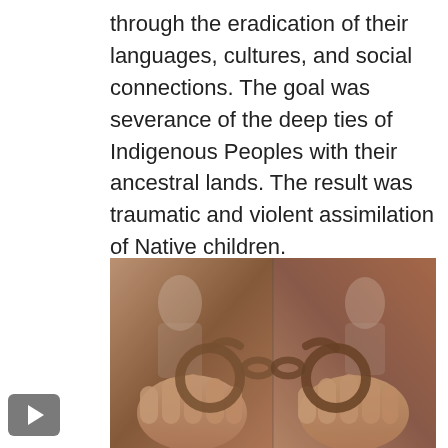through the eradication of their languages, cultures, and social connections. The goal was severance of the deep ties of Indigenous Peoples with their ancestral lands. The result was traumatic and violent assimilation of Native children.
[Figure (photo): Composite image showing two hands holding open shackles or handcuffs, with faded historical photographs of Indigenous children overlaid in the background on both sides, symbolizing the forced assimilation of Native children.]